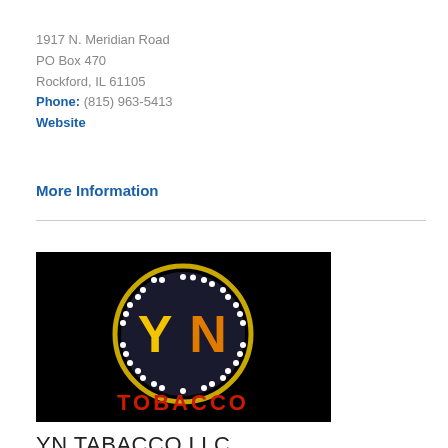1917 N. Meridian Road
PO Box 470
Rockford, IL 61105
Phone: (815) 963-5413
Website
More Information
[Figure (logo): YN Tobacco logo: circular gold badge with 'YN' letters on black background, white dot border, text 'TOBACCO' in red below]
YN TABACCO LLC